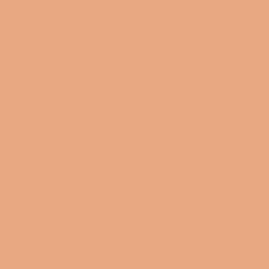| Region | Col1 | Col2 |
| --- | --- | --- |
| Anhui | 4812.68 | 932.42 |
| Fujian | 6053.14 | 777.87 |
| Jiangxi | 3495.94 | 711.70 |
| Shandong | 15490.73 | 1778.30 |
|  |  |  |
| Henan | 8815.09 | 1647.48 |
| Hubei | 6309.92 | 1020.09 |
| Hunan | 5612.26 | 1155.85 |
| Guangdong | 16039.46 | 1245.42 |
| Guangxi | 3320.10 | 811.38 |
| Hainan | 769.36 | 283.84 |
|  |  |  |
| Chongqing | 2665.39 | 431.32 |
| Sichuan | 6556.01 | 1394.26 |
| Guizhou | 1591.90 | 334.11 |
| Yunnan | 2959.48 | 604.33 |
| Tibet | 211.54 | 43.33 |
|  |  |  |